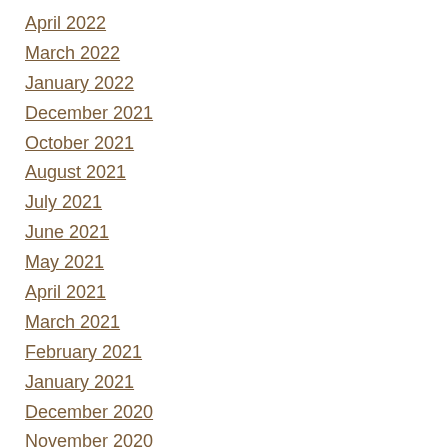April 2022
March 2022
January 2022
December 2021
October 2021
August 2021
July 2021
June 2021
May 2021
April 2021
March 2021
February 2021
January 2021
December 2020
November 2020
October 2020
September 2020
August 2020
July 2020